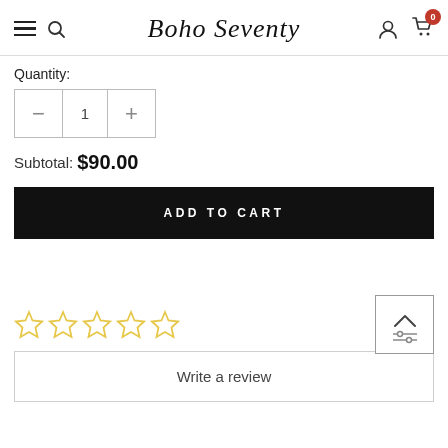Boho Seventy
Quantity:
1
Subtotal: $90.00
ADD TO CART
[Figure (other): Five empty star rating icons (all outlined, no fill)]
[Figure (other): Scroll to top button with upward chevron and filter/sliders icon]
Write a review